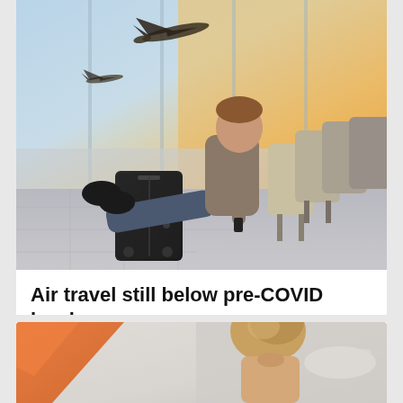[Figure (photo): Man sitting in airport lounge chair with feet resting on luggage, watching airplane take off through large terminal window, warm golden sunset light]
Air travel still below pre-COVID levels
[Figure (photo): Woman with hair up viewed from behind, partial view of airplane in background, appears to be at an airport or near aircraft]